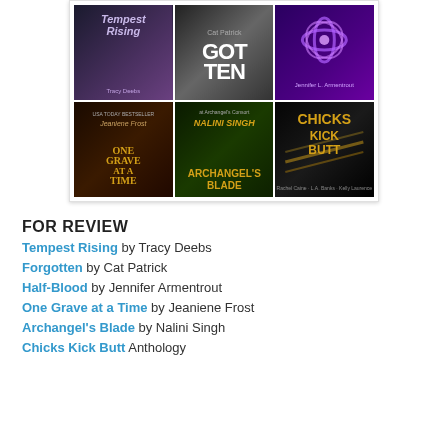[Figure (illustration): A 2x3 grid of book covers: top row - Tempest Rising by Tracy Deebs, Forgotten by Cat Patrick, Half-Blood by Jennifer Armentrout; bottom row - One Grave at a Time by Jeaniene Frost, Archangel's Blade by Nalini Singh, Chicks Kick Butt anthology]
FOR REVIEW
Tempest Rising by Tracy Deebs
Forgotten by Cat Patrick
Half-Blood by Jennifer Armentrout
One Grave at a Time by Jeaniene Frost
Archangel's Blade by Nalini Singh
Chicks Kick Butt Anthology